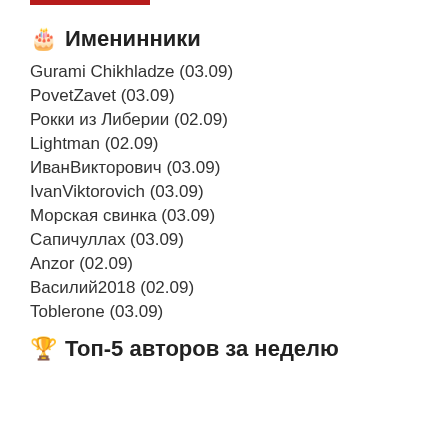🎂 Именинники
Gurami Chikhladze (03.09)
PovetZavet (03.09)
Рокки из Либерии (02.09)
Lightman (02.09)
ИванВикторович (03.09)
IvanViktorovich (03.09)
Морская свинка (03.09)
Сапичуллах (03.09)
Anzor (02.09)
Василий2018 (02.09)
Toblerone (03.09)
🏆 Топ-5 авторов за неделю